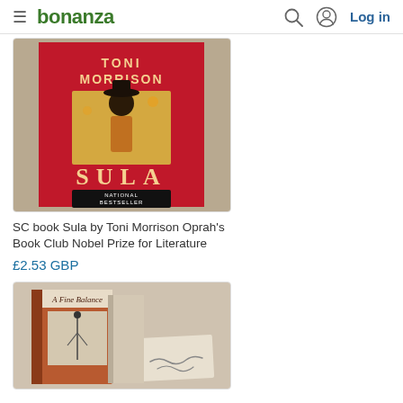bonanza  Log in
[Figure (photo): Book cover of 'Sula' by Toni Morrison, red cover with illustration, National Bestseller, Oprah's Book Club]
SC book Sula by Toni Morrison Oprah's Book Club Nobel Prize for Literature
£2.53 GBP
[Figure (photo): Book 'A Fine Balance' by Rohinton Mistry, terracotta/orange hardcover with a signed card]